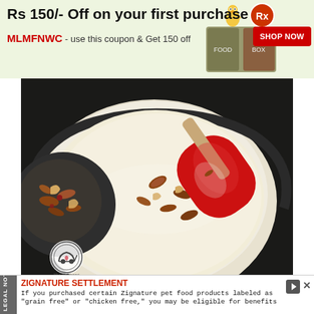[Figure (infographic): Top advertisement banner with green background. Text: 'Rs 150/- Off on your first purchase' and coupon code 'MLMFNWC - use this coupon & Get 150 off'. Includes product images and a red 'SHOP NOW' button, plus a bird mascot and pharmacy icon.]
[Figure (photo): A cooking photo showing a white creamy mixture in a pan with chopped mixed nuts (almonds, cashews) and a red silicone spatula. A small bowl of nuts visible in top left. Watermark logo of My Little Moppet in bottom left corner.]
5. Turn off the flame. Add the cardamom powd x
[Figure (other): WhatsApp floating action button (green circle with white WhatsApp icon) overlapping the text, with an 'x' close button beside it.]
[Figure (infographic): Bottom advertisement banner. Vertical 'LEGAL NOTICE' tab on left. Title: 'ZIGNATURE SETTLEMENT' in red/orange bold text with a play icon and close X. Body text: 'If you purchased certain Zignature pet food products labeled as "grain free" or "chicken free," you may be eligible for benefits']